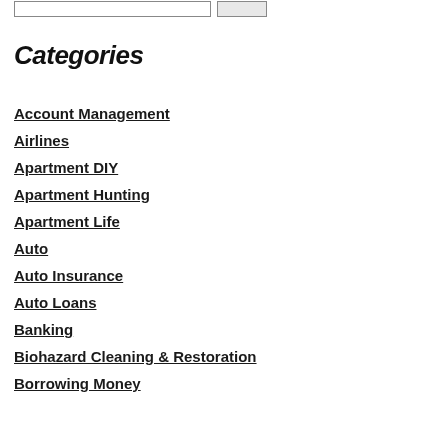Categories
Account Management
Airlines
Apartment DIY
Apartment Hunting
Apartment Life
Auto
Auto Insurance
Auto Loans
Banking
Biohazard Cleaning & Restoration
Borrowing Money